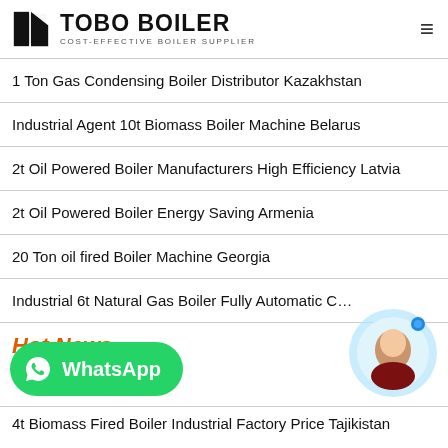TOBO BOILER — COST-EFFECTIVE BOILER SUPPLIER
1 Ton Gas Condensing Boiler Distributor Kazakhstan
Industrial Agent 10t Biomass Boiler Machine Belarus
2t Oil Powered Boiler Manufacturers High Efficiency Latvia
2t Oil Powered Boiler Energy Saving Armenia
20 Ton oil fired Boiler Machine Georgia
Industrial 6t Natural Gas Boiler Fully Automatic C…
Hot News
[Figure (other): WhatsApp contact button (green rounded rectangle with WhatsApp logo and text 'WhatsApp')]
[Figure (photo): Chat support avatar — circular photo of a woman with light blue circular background and a blue dot indicator]
4t Biomass Fired Boiler Industrial Factory Price Tajikistan